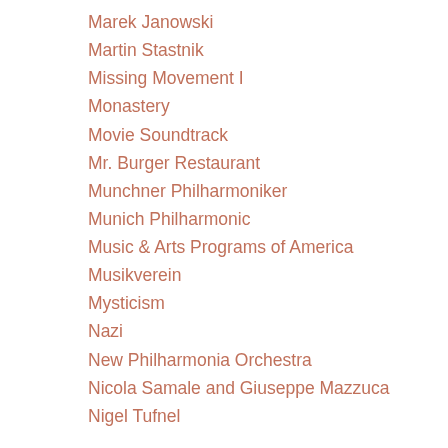Marek Janowski
Martin Stastnik
Missing Movement I
Monastery
Movie Soundtrack
Mr. Burger Restaurant
Munchner Philharmoniker
Munich Philharmonic
Music & Arts Programs of America
Musikverein
Mysticism
Nazi
New Philharmonia Orchestra
Nicola Samale and Giuseppe Mazzuca
Nigel Tufnel